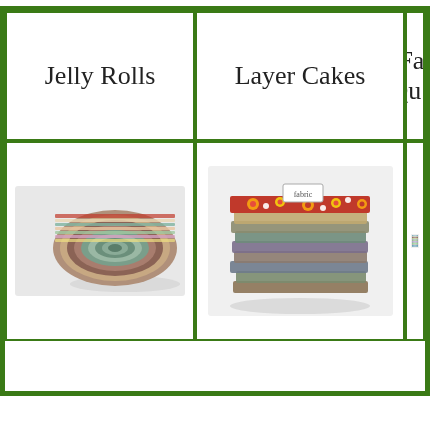Jelly Rolls
Layer Cakes
Fat Qu...
[Figure (photo): A rolled jelly roll of colorful quilting fabric strips]
[Figure (photo): A stack of layer cake quilting fabric squares with floral patterns]
[Figure (photo): A bundle of fat quarter quilting fabrics tied together]